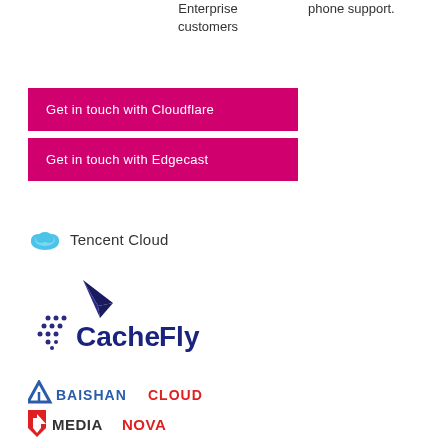Enterprise customers
phone support.
Get in touch with Cloudflare
Get in touch with Edgecast
[Figure (logo): Tencent Cloud logo with cloud icon in blue and text 'Tencent Cloud']
[Figure (logo): CacheFly logo with paper plane and dotted grid icon in dark blue/purple and text 'CacheFly']
[Figure (logo): BaishanCloud logo with triangle icon and text 'BAISHANCLOUD' in blue and red]
[Figure (logo): MediaNova logo with shield/arrow icon in red and text 'MEDIANOVA' in dark and red]